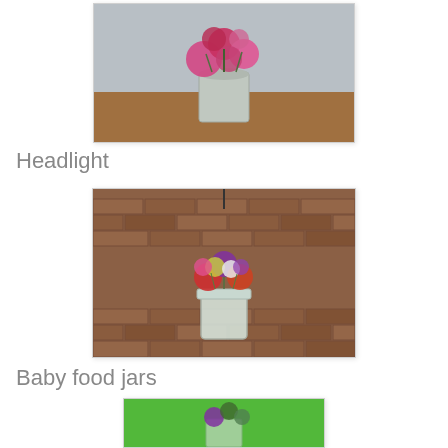[Figure (photo): A tin can vase filled with pink and red flowers on a wooden table against a grey wall]
Headlight
[Figure (photo): A mason jar hanging in front of a brick wall, filled with colorful flowers including red, purple, white, and orange blooms]
Baby food jars
[Figure (photo): Flowers in a small jar against a bright green background, partially visible]